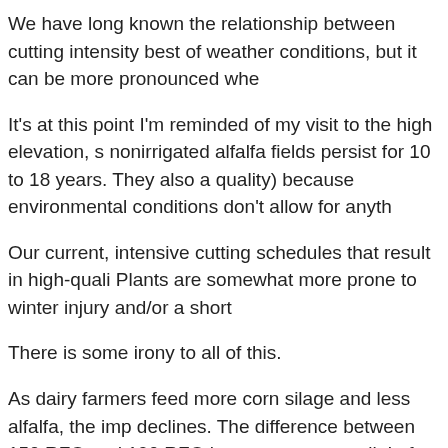We have long known the relationship between cutting intensity best of weather conditions, but it can be more pronounced whe
It's at this point I'm reminded of my visit to the high elevation, s nonirrigated alfalfa fields persist for 10 to 18 years. They also a quality) because environmental conditions don't allow for anyth
Our current, intensive cutting schedules that result in high-quali Plants are somewhat more prone to winter injury and/or a short
There is some irony to all of this.
As dairy farmers feed more corn silage and less alfalfa, the imp declines. The difference between 150 RFQ and 190 RFQ beco apparent at all. In fact, the 150 RFQ alfalfa may be the better p the reason why many farmers are feeding less alfalfa — a lack